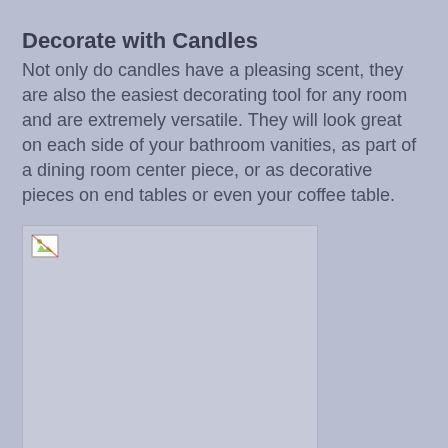Decorate with Candles
Not only do candles have a pleasing scent, they are also the easiest decorating tool for any room and are extremely versatile. They will look great on each side of your bathroom vanities, as part of a dining room center piece, or as decorative pieces on end tables or even your coffee table.
[Figure (photo): A broken/missing image placeholder showing a small broken image icon in the top-left corner. The image area is a light grey-blue rectangle.]